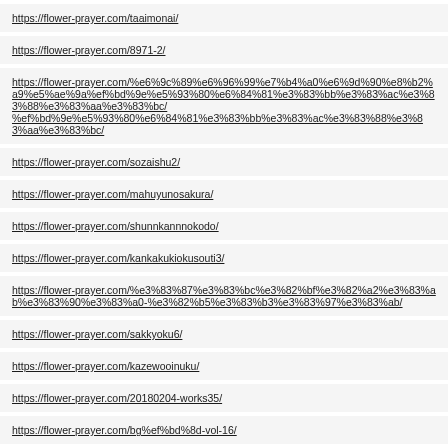https://flower-prayer.com/taaimonai/
https://flower-prayer.com/8971-2/
https://flower-prayer.com/%e6%9c%89%e6%96%99%e7%b4%a0%e6%9d%90%e8%b2%a9%e5%ae%9a%ef%bd%9e%e5%93%80%e6%84%81%e3%83%bb%e3%83%ac%e3%83%88%e3%83%aa%e3%83%bc/
https://flower-prayer.com/sozaishu2/
https://flower-prayer.com/mahuyunosakura/
https://flower-prayer.com/shunnkannnokodo/
https://flower-prayer.com/kankakukiokusouti3/
https://flower-prayer.com/%e3%83%87%e3%83%bc%e3%82%bf%e3%82%a2%e3%83%ab%e3%83%90%e3%83%a0-%e3%82%b5%e3%83%b3%e3%83%97%e3%83%ab/
https://flower-prayer.com/sakkyoku6/
https://flower-prayer.com/kazewooinuku/
https://flower-prayer.com/20180204-works35/
https://flower-prayer.com/bg%ef%bd%8d-vol-16/